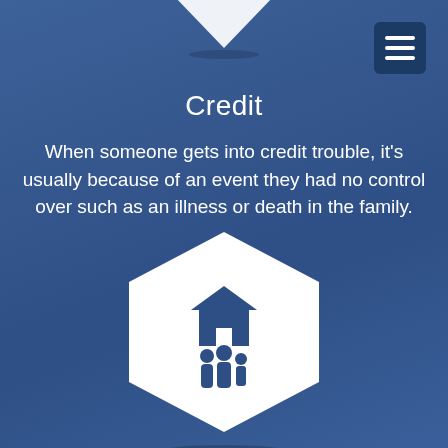[Figure (illustration): White downward-pointing chevron/arrow at top center]
[Figure (illustration): Dark blue hamburger menu button in top right corner]
Credit
When someone gets into credit trouble, it’s usually because of an event they had no control over such as an illness or death in the family.
[Figure (illustration): Coral/salmon colored 'Read More' button]
[Figure (illustration): White hexagon shape with dark blue family (house and people) icon inside, at bottom center]